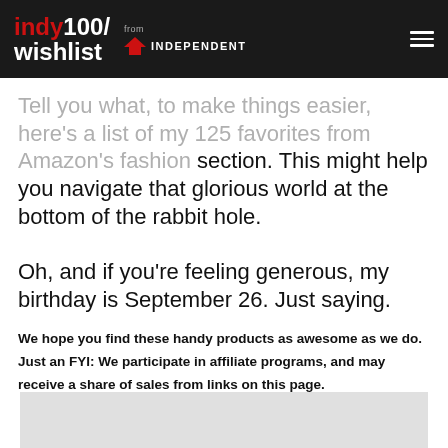indy100/wishlist from INDEPENDENT
Tell you what, to make things easier, here's a list of my 125 favorites from Amazon's fashion section. This might help you navigate that glorious world at the bottom of the rabbit hole.

Oh, and if you're feeling generous, my birthday is September 26. Just saying.
We hope you find these handy products as awesome as we do. Just an FYI: We participate in affiliate programs, and may receive a share of sales from links on this page.